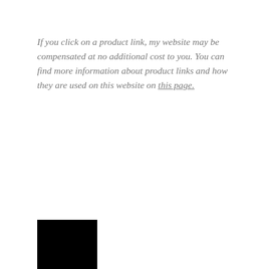If you click on a product link, my website may be compensated at no additional cost to you. You can find more information about product links and how they are used on this website on this page.
[Figure (other): Black rectangle / image block at the bottom left of the page]